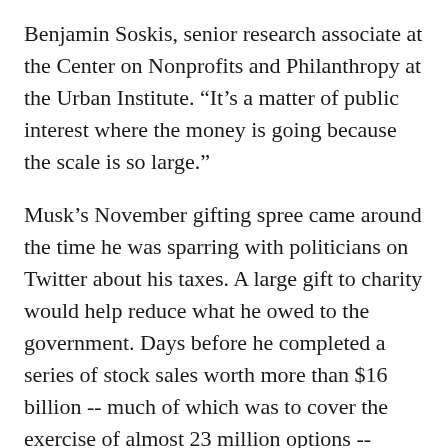Benjamin Soskis, senior research associate at the Center on Nonprofits and Philanthropy at the Urban Institute. “It’s a matter of public interest where the money is going because the scale is so large.”
Musk’s November gifting spree came around the time he was sparring with politicians on Twitter about his taxes. A large gift to charity would help reduce what he owed to the government. Days before he completed a series of stock sales worth more than $16 billion -- much of which was to cover the exercise of almost 23 million options -- Tesla’s chief executive tweeted he would pay more than $11 billion in taxes for the year.
In the weeks leading up to the gift, Musk also suggested he’d sell stock if the United Nations proved $6 billion would help solve world hunger, after the head of the